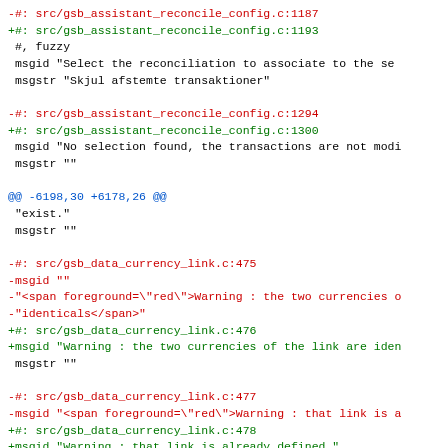-#: src/gsb_assistant_reconcile_config.c:1187
+#: src/gsb_assistant_reconcile_config.c:1193
 #, fuzzy
 msgid "Select the reconciliation to associate to the se
 msgstr "Skjul afstemte transaktioner"

-#: src/gsb_assistant_reconcile_config.c:1294
+#: src/gsb_assistant_reconcile_config.c:1300
 msgid "No selection found, the transactions are not modi
 msgstr ""

@@ -6198,30 +6178,26 @@
 "exist."
 msgstr ""

-#: src/gsb_data_currency_link.c:475
-msgid ""
-"<span foreground=\"red\">Warning : the two currencies o
-"identicals</span>"
+#: src/gsb_data_currency_link.c:476
+msgid "Warning : the two currencies of the link are iden
 msgstr ""

-#: src/gsb_data_currency_link.c:477
-msgid "<span foreground=\"red\">Warning : that link is a
+#: src/gsb_data_currency_link.c:478
+msgid "Warning : that link is already defined."
 msgstr ""

-#: src/gsb_data_fyear.c:574